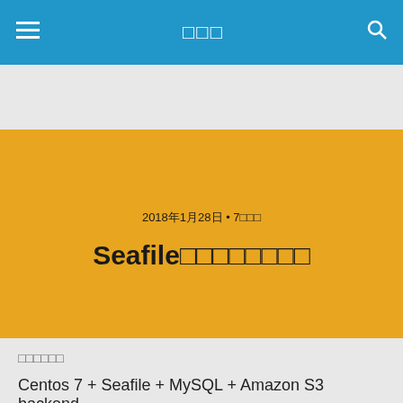≡  □□□  🔍
Seafile□□□□□□□□
2018年1月28日 • 7□□□
f 共有  🐦 共有  📌 Pin  ✉ 共有  💬 SMS
□□□□□□
Centos 7 + Seafile + MySQL + Amazon S3 backend
□□□□□□
□□□